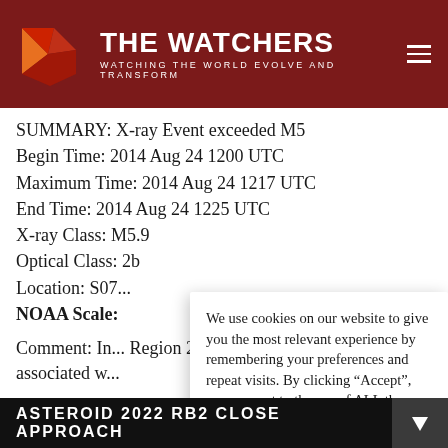THE WATCHERS — WATCHING THE WORLD EVOLVE AND TRANSFORM
SUMMARY: X-ray Event exceeded M5
Begin Time: 2014 Aug 24 1200 UTC
Maximum Time: 2014 Aug 24 1217 UTC
End Time: 2014 Aug 24 1225 UTC
X-ray Class: M5.9
Optical Class: 2b
Location: S07...
NOAA Scale:
Comment: In... Region 2151 n... km/s) and Te... associated w...
We use cookies on our website to give you the most relevant experience by remembering your preferences and repeat visits. By clicking “Accept”, you consent to the use of ALL the cookies.
Do not sell my personal information.
ASTEROID 2022 RB2 CLOSE APPROACH